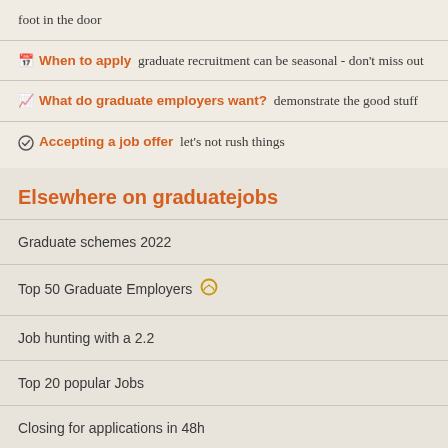foot in the door
When to apply  graduate recruitment can be seasonal - don't miss out
What do graduate employers want?  demonstrate the good stuff
Accepting a job offer  let's not rush things
Elsewhere on graduatejobs
Graduate schemes 2022
Top 50 Graduate Employers
Job hunting with a 2.2
Top 20 popular Jobs
Closing for applications in 48h